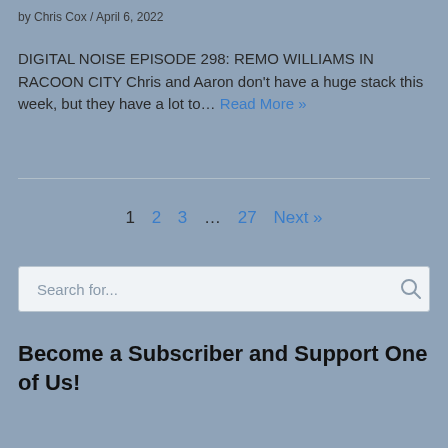by Chris Cox / April 6, 2022
DIGITAL NOISE EPISODE 298: REMO WILLIAMS IN RACOON CITY Chris and Aaron don't have a huge stack this week, but they have a lot to… Read More »
1  2  3  ...  27  Next »
Search for...
Become a Subscriber and Support One of Us!